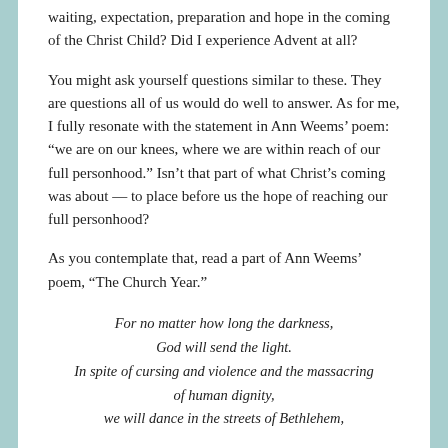waiting, expectation, preparation and hope in the coming of the Christ Child? Did I experience Advent at all?
You might ask yourself questions similar to these. They are questions all of us would do well to answer. As for me, I fully resonate with the statement in Ann Weems' poem: “we are on our knees, where we are within reach of our full personhood.” Isn’t that part of what Christ’s coming was about — to place before us the hope of reaching our full personhood?
As you contemplate that, read a part of Ann Weems’ poem, “The Church Year.”
For no matter how long the darkness,
God will send the light.
In spite of cursing and violence and the massacring
of human dignity,
we will dance in the streets of Bethlehem,